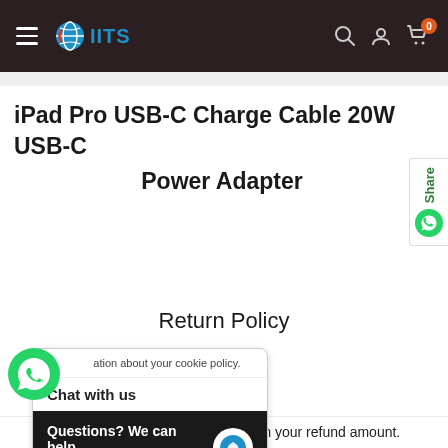IITS — navigation header with hamburger menu, logo, search, account, and cart icons
iPad Pro USB-C Charge Cable 20W USB-C Power Adapter
Return Policy
[Figure (screenshot): Chat with us popup overlay with WhatsApp icon and dark body reading 'Questions? We can help. Chat with us now.' with a blue chat icon]
restocking fee will be deducted from your refund amount.